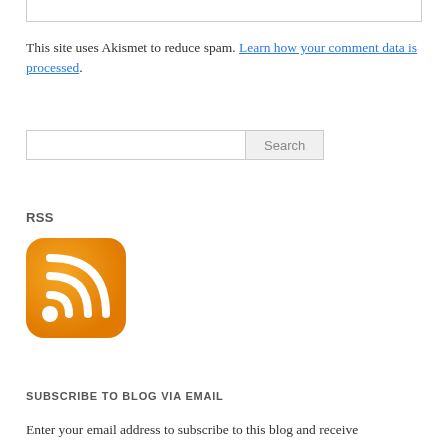This site uses Akismet to reduce spam. Learn how your comment data is processed.
[Figure (screenshot): Search bar with text input field and Search button]
RSS
[Figure (logo): RSS feed orange icon/logo]
SUBSCRIBE TO BLOG VIA EMAIL
Enter your email address to subscribe to this blog and receive